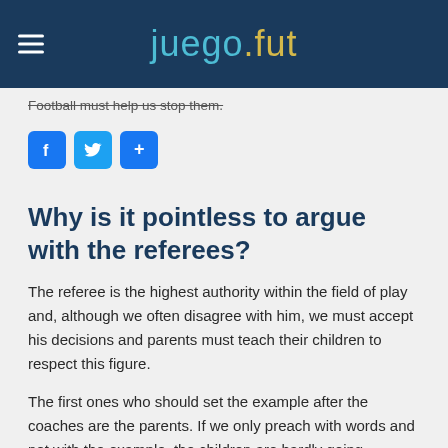juegofut
Football must help us stop them.
[Figure (other): Social share buttons: Facebook, Twitter, and a generic share button]
Why is it pointless to argue with the referees?
The referee is the highest authority within the field of play and, although we often disagree with him, we must accept his decisions and parents must teach their children to respect this figure.
The first ones who should set the example after the coaches are the parents. If we only preach with words and not with the example, the children are hardly going